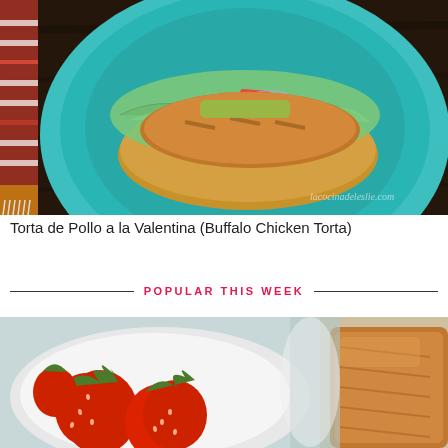[Figure (photo): Overhead view of a grilled chicken torta on a teal/turquoise plate with lettuce, red peppers, onion, and avocado on a dark wood surface with a colorful woven textile. Watermark reads lacocinadeleslie.com]
Torta de Pollo a la Valentina (Buffalo Chicken Torta)
POPULAR THIS WEEK
[Figure (photo): Close-up photo of fresh red strawberries in a white bowl on a light background, with a baked/fried food item visible at the right edge. A circular scroll-up button is visible at right.]